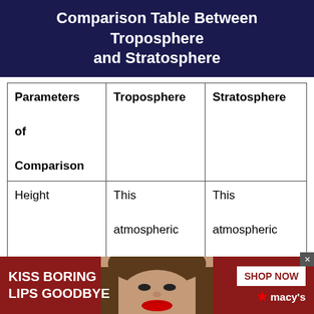Comparison Table Between Troposphere and Stratosphere
| Parameters of Comparison | Troposphere | Stratosphere |
| --- | --- | --- |
| Height | This atmospheric zone has a | This atmospheric layer can be |
[Figure (infographic): Advertisement banner: KISS BORING LIPS GOODBYE — Macy's cosmetics ad with woman's face and red lips, SHOP NOW button and Macy's star logo]